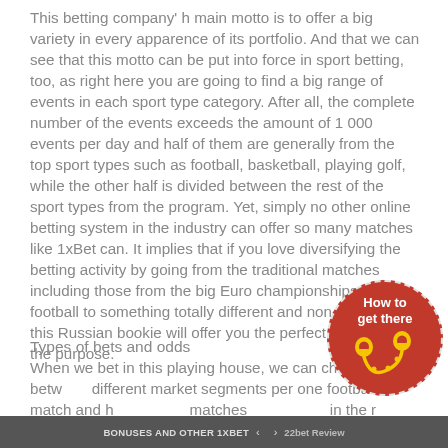This betting company' h main motto is to offer a big variety in every apparence of its portfolio. And that we can see that this motto can be put into force in sport betting, too, as right here you are going to find a big range of events in each sport type category. After all, the complete number of the events exceeds the amount of 1 000 events per day and half of them are generally from the top sport types such as football, basketball, playing golf, while the other half is divided between the rest of the sport types from the program. Yet, simply no other online betting system in the industry can offer so many matches like 1xBet can. It implies that if you love diversifying the betting activity by going from the traditional matches including those from the big Euro championships in football to something totally different and non-traditional, this Russian bookie will offer you the perfect options for the purpose.
Types of bets and odds
When we bet in this playing house, we can choose between different market segments per one football match and h... matches ... in the rest of sport disciplines. You
[Figure (logo): Red circular badge with 'How to get there' text and yellow location pin / route icon]
BONUSES AND OTHER 1XBET ... < > 22bet Review